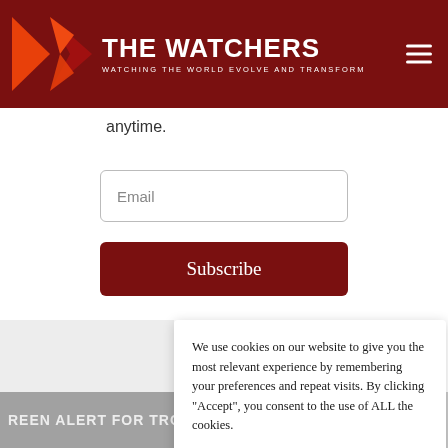THE WATCHERS — WATCHING THE WORLD EVOLVE AND TRANSFORM
anytime.
Email
Subscribe
We use cookies on our website to give you the most relevant experience by remembering your preferences and repeat visits. By clicking “Accept”, you consent to the use of ALL the cookies.
Do not sell my personal information.
Cookie settings
Accept
REEN ALERT FOR TROPICAL CYCLONE TOKAGE-22. POPULATIO